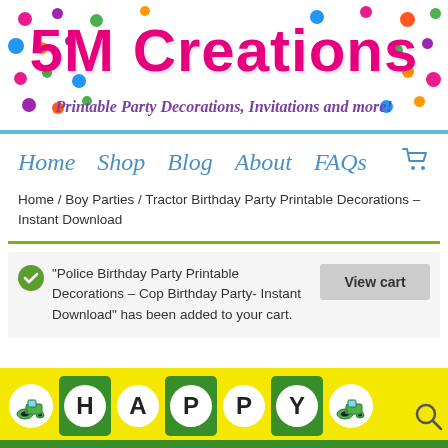[Figure (logo): 5M Creations website banner with colorful polka dots on white background, pink bold text '5M Creations' and purple italic subtitle 'Printable Party Decorations, Invitations and more!']
Home  Shop  Blog  About  FAQs  [cart]
Home / Boy Parties / Tractor Birthday Party Printable Decorations – Instant Download
"Police Birthday Party Printable Decorations – Cop Birthday Party- Instant Download" has been added to your cart.
[Figure (photo): Tractor birthday party banner showing HAPPY with tractor icons, yellow and green color scheme, with magnifying glass search icon overlay]